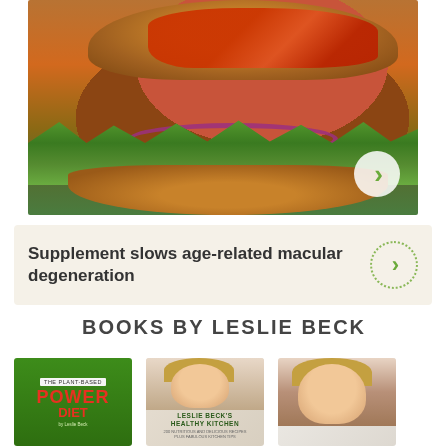[Figure (photo): Close-up photo of a burger with tomato, red onion, lettuce on a whole grain bun, on a teal surface]
Supplement slows age-related macular degeneration
BOOKS BY LESLIE BECK
[Figure (photo): Book cover: The Plant-Based Power Diet by Leslie Beck, green cover with red bold title]
[Figure (photo): Book cover: Leslie Beck's Healthy Kitchen, showing author photo]
[Figure (photo): Third book cover showing Leslie Beck author photo]